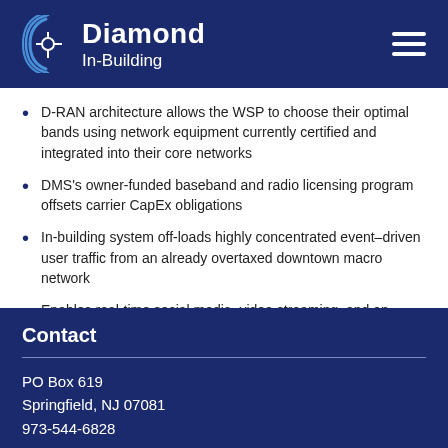[Figure (logo): Diamond In-Building logo with circular wave icon and hamburger menu icon on dark navy background]
D-RAN architecture allows the WSP to choose their optimal bands using network equipment currently certified and integrated into their core networks
DMS's owner-funded baseband and radio licensing program offsets carrier CapEx obligations
In-building system off-loads highly concentrated event–driven user traffic from an already overtaxed downtown macro network
Enables real-time social media, video streaming, and an overall enhanced event experience
Contact
PO Box 619
Springfield, NJ 07081
973-544-6828